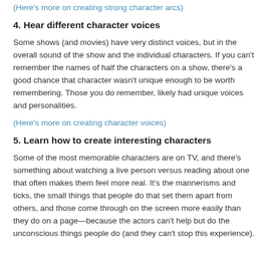(Here's more on creating strong character arcs)
4. Hear different character voices
Some shows (and movies) have very distinct voices, but in the overall sound of the show and the individual characters. If you can't remember the names of half the characters on a show, there's a good chance that character wasn't unique enough to be worth remembering. Those you do remember, likely had unique voices and personalities.
(Here's more on creating character voices)
5. Learn how to create interesting characters
Some of the most memorable characters are on TV, and there's something about watching a live person versus reading about one that often makes them feel more real. It's the mannerisms and ticks, the small things that people do that set them apart from others, and those come through on the screen more easily than they do on a page—because the actors can't help but do the unconscious things people do (and they can't stop this experience).